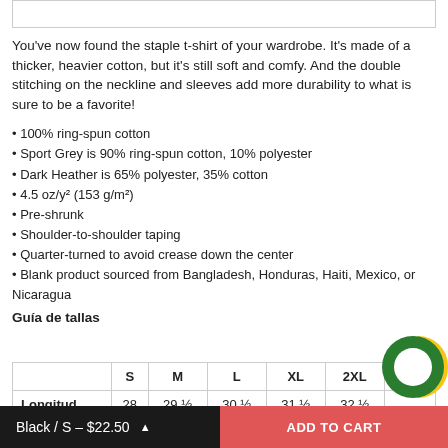[Figure (other): Product image placeholder (top border only visible)]
You've now found the staple t-shirt of your wardrobe. It's made of a thicker, heavier cotton, but it's still soft and comfy. And the double stitching on the neckline and sleeves add more durability to what is sure to be a favorite!
100% ring-spun cotton
Sport Grey is 90% ring-spun cotton, 10% polyester
Dark Heather is 65% polyester, 35% cotton
4.5 oz/y² (153 g/m²)
Pre-shrunk
Shoulder-to-shoulder taping
Quarter-turned to avoid crease down the center
Blank product sourced from Bangladesh, Honduras, Haiti, Mexico, or Nicaragua
Guía de tallas
|  | S | M | L | XL | 2XL | 3XL |
| --- | --- | --- | --- | --- | --- | --- |
| Longitud | 28 | 29 ½ | 30 ½ | 31 ½ | 32 ½ |  |
Black / S - $22.50
ADD TO CART